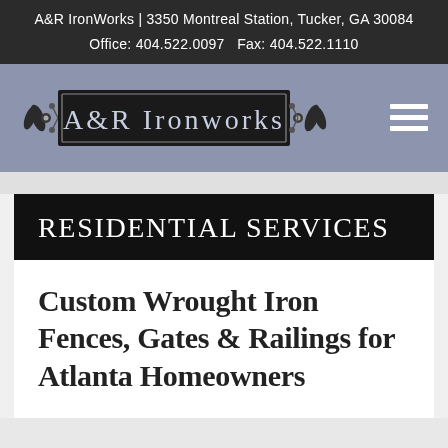A&R IronWorks | 3350 Montreal Station, Tucker, GA 30084
Office: 404.522.0097   Fax: 404.522.1110
[Figure (logo): A&R Ironworks logo with decorative ironwork flourishes on a steel-blue background, with a hamburger menu icon on the right]
RESIDENTIAL SERVICES
Custom Wrought Iron Fences, Gates & Railings for Atlanta Homeowners